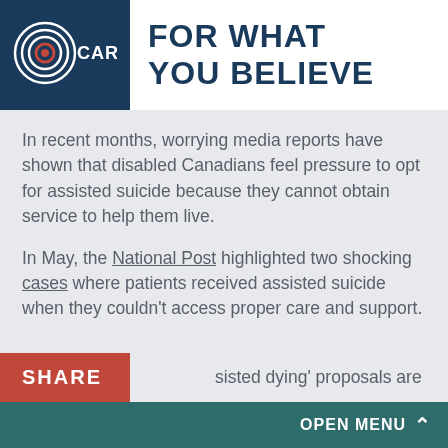[Figure (logo): CARE organization logo — concentric white circles on dark navy background with 'CARE' text in white]
FOR WHAT YOU BELIEVE
In recent months, worrying media reports have shown that disabled Canadians feel pressure to opt for assisted suicide because they cannot obtain service to help them live.
In May, the National Post highlighted two shocking cases where patients received assisted suicide when they couldn't access proper care and support.
SHARE
sisted dying' proposals are
OPEN MENU